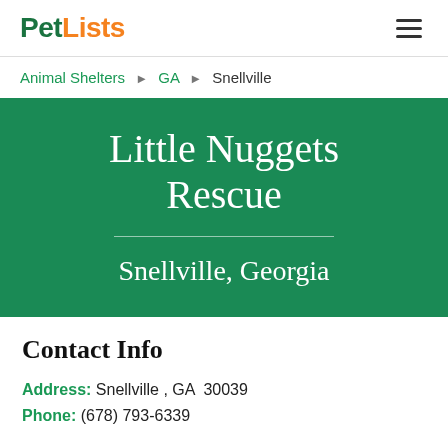PetLists
Animal Shelters ▶ GA ▶ Snellville
Little Nuggets Rescue
Snellville, Georgia
Contact Info
Address: Snellville , GA  30039
Phone: (678) 793-6339